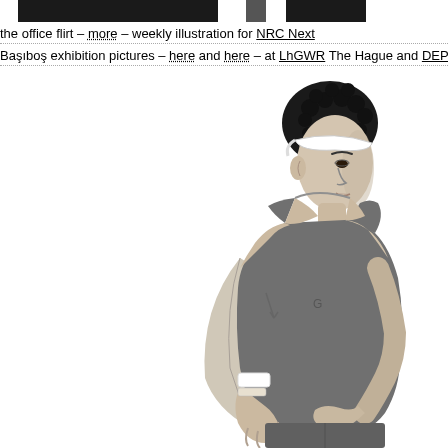[Figure (illustration): Top partial images: dark rectangular strips at top of page — cropped images of figures]
the office flirt – more – weekly illustration for NRC Next
Başıboş exhibition pictures – here and here – at LhGWR The Hague and DEPO Istanbul
[Figure (illustration): Black and white ink drawing of a male athlete/runner wearing a tank top and headband, hands on hips, looking downward, with curly hair and wristbands]